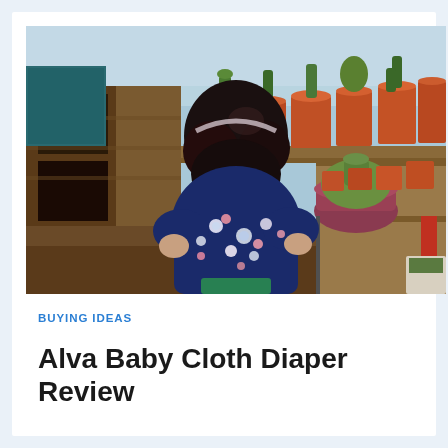[Figure (photo): A young child viewed from behind, wearing a navy blue floral dress with pink and white flowers, standing in a garden center or greenhouse surrounded by numerous cactus plants in terracotta and dark pots, with wooden shelving structures visible.]
BUYING IDEAS
Alva Baby Cloth Diaper Review